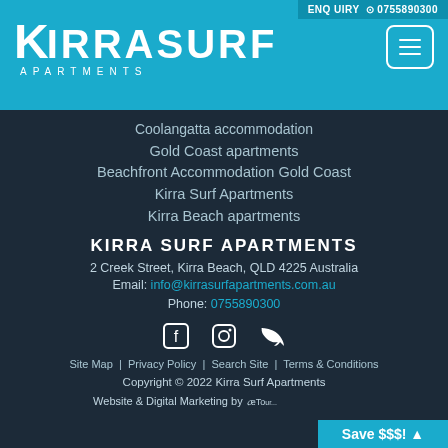ENQUIRY  0755890300
[Figure (logo): Kirra Surf Apartments logo — stylized K with IRRASURF in white text on blue background, with APARTMENTS subtitle]
Coolangatta accommodation
Gold Coast apartments
Beachfront Accommodation Gold Coast
Kirra Surf Apartments
Kirra Beach apartments
KIRRA SURF APARTMENTS
2 Creek Street, Kirra Beach, QLD 4225 Australia
Email: info@kirrasurfapartments.com.au
Phone: 0755890300
[Figure (illustration): Social media icons: Facebook, Instagram, RSS feed]
Site Map | Privacy Policy | Search Site | Terms & Conditions
Copyright © 2022 Kirra Surf Apartments
Website & Digital Marketing by eTourism
Save $$$! ▲